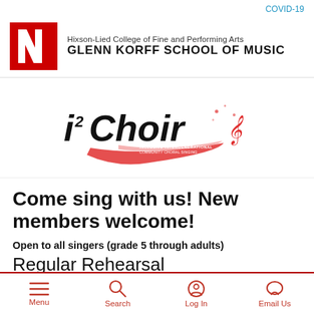COVID-19
[Figure (logo): University of Nebraska red N logo block]
Hixson-Lied College of Fine and Performing Arts
GLENN KORFF SCHOOL OF MUSIC
[Figure (logo): i2Choir logo with red musical note swoosh graphic]
Come sing with us! New members welcome!
Open to all singers (grade 5 through adults)
Regular Rehearsal
Menu  Search  Log In  Email Us